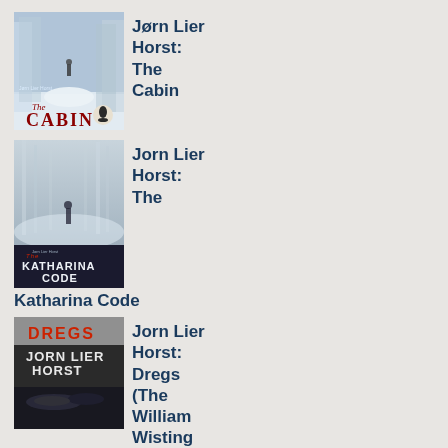[Figure (illustration): Book cover of 'The Cabin' by Jorn Lier Horst — winter snow scene with trees and small figure, red publisher logo]
Jørn Lier Horst: The Cabin
[Figure (illustration): Book cover of 'The Katharina Code' by Jorn Lier Horst — misty winter forest with lone figure, dark typography]
Jorn Lier Horst: The Katharina Code
[Figure (illustration): Book cover of 'Dregs' by Jorn Lier Horst — red title text, author name in large white letters, dark scene below]
Jorn Lier Horst: Dregs (The William Wisting